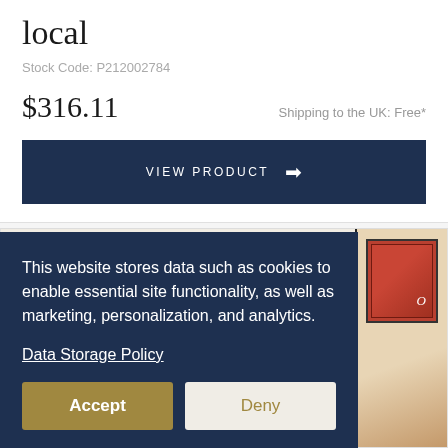local
Stock Code: P212002784
$316.11
Shipping to the UK: Free*
VIEW PRODUCT →
This website stores data such as cookies to enable essential site functionality, as well as marketing, personalization, and analytics.
Data Storage Policy
Accept
Deny